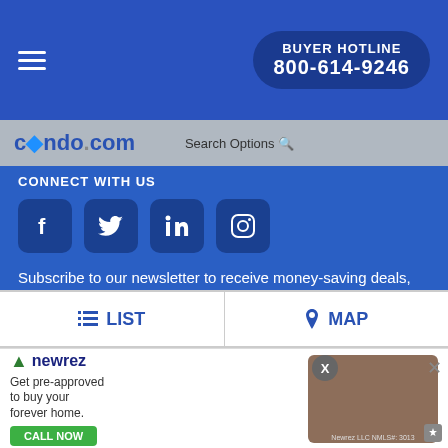BUYER HOTLINE 800-614-9246
[Figure (screenshot): condo.com logo with water drop and Search Options link in navigation bar]
Connect With Us
[Figure (infographic): Social media icons: Facebook, Twitter, LinkedIn, Instagram]
Subscribe to our newsletter to receive money-saving deals, advice on condo living and market news
[Figure (other): Email subscription form with Enter your email input field and SUBMIT button]
Free Buyer's Guide
[Figure (other): Bottom navigation tabs: LIST and MAP]
[Figure (other): Newrez advertisement: Get pre-approved to buy your forever home. CALL NOW. Newrez LLC NMLS#: 3013]